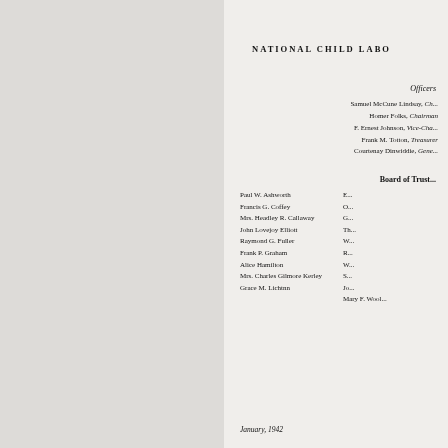NATIONAL CHILD LABO
Officers
Samuel McCune Lindsay, Ch...
Homer Folks, Chairman
F. Ernest Johnson, Vice-Cha...
Frank M. Totton, Treasurer
Courtenay Dinwiddie, Gene...
Board of Trust...
Paul W. Ashworth
Francis G. Coffey
Mrs. Headley R. Callaway
John Lovejoy Elliott
Raymond G. Fuller
Frank P. Graham
Alice Hamilton
Mrs. Charles Gilmore Kerley
Grace M. Lichtnn
Mary F. Wool...
January, 1942